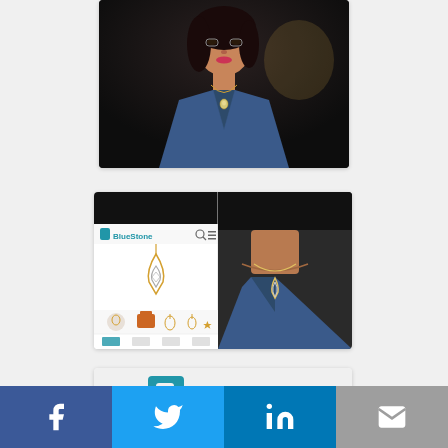[Figure (photo): Woman wearing a blue halter top and gold chain necklace, dark background, screenshot/video frame in a card]
[Figure (screenshot): Split image: left side shows BlueStone mobile app with a diamond pendant, right side shows woman wearing the pendant necklace]
[Figure (logo): BlueStone logo with teal B icon and BlueStone text on light background]
[Figure (infographic): Social sharing bar with Facebook, Twitter, LinkedIn, and email icons]